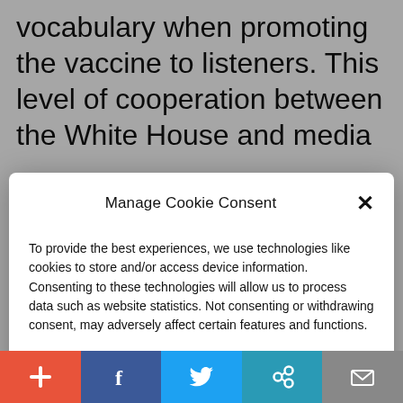vocabulary when promoting the vaccine to listeners. This level of cooperation between the White House and media
[Figure (photo): Audience crowd photo visible beneath modal overlay]
Manage Cookie Consent
To provide the best experiences, we use technologies like cookies to store and/or access device information. Consenting to these technologies will allow us to process data such as website statistics. Not consenting or withdrawing consent, may adversely affect certain features and functions.
Accept
Cookie Policy  Privacy Policy
[Figure (infographic): Social share bar with five buttons: + (orange), f Facebook (dark blue), Twitter bird (light blue), chain link (teal), envelope/mail (grey)]